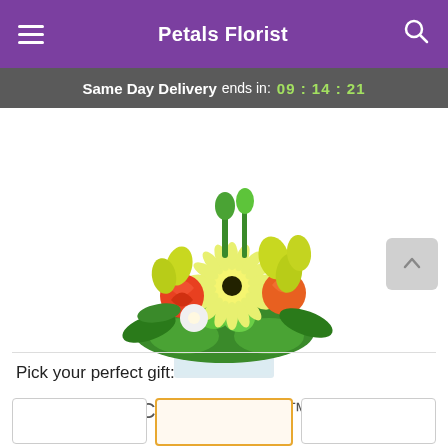Petals Florist
Same Day Delivery ends in: 09:14:21
[Figure (photo): A colorful flower arrangement in a square glass vase featuring yellow orchids, red/orange roses, white flowers, yellow gerbera daisy, and green foliage — the Citron Surprise product photo.]
Citron Surprise™
Pick your perfect gift: